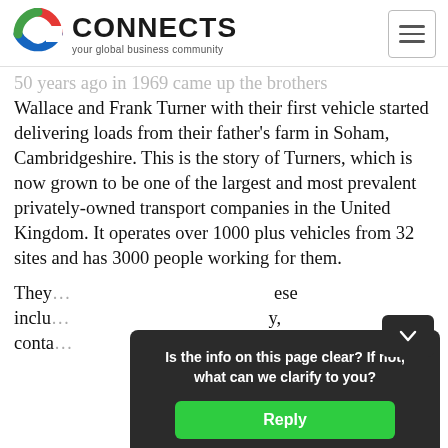CONNECTS — your global business community
50 years ago in 1969 came up the brothers Wallace and Frank Turner with their first vehicle started delivering loads from their father's farm in Soham, Cambridgeshire. This is the story of Turners, which is now grown to be one of the largest and most prevalent privately-owned transport companies in the United Kingdom. It operates over 1000 plus vehicles from 32 sites and has 3000 people working for them.
They… these include… y, conta…
Is the info on this page clear? If not, what can we clarify to you?
Reply